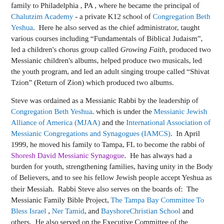family to Philadelphia , PA , where he became the principal of Chalutzim Academy - a private K12 school of Congregation Beth Yeshua. Here he also served as the chief administrator, taught various courses including "Fundamentals of Biblical Judaism", led a children's chorus group called Growing Faith, produced two Messianic children's albums, helped produce two musicals, led the youth program, and led an adult singing troupe called "Shivat Tzion" (Return of Zion) which produced two albums.
Steve was ordained as a Messianic Rabbi by the leadership of Congregation Beth Yeshua. which is under the Messianic Jewish Alliance of America (MJAA) and the International Association of Messianic Congregations and Synagogues (IAMCS). In April 1999, he moved his family to Tampa, FL to become the rabbi of Shoresh David Messianic Synagogue. He has always had a burden for youth, strengthening families, having unity in the Body of Believers, and to see his fellow Jewish people accept Yeshua as their Messiah. Rabbi Steve also serves on the boards of: The Messianic Family Bible Project, The Tampa Bay Committee To Bless Israel , Ner Tamid, and BayshoreChristian School and others. He also served on the Executive Committee of the Messianic Jewish Alliance of America (MJAA).